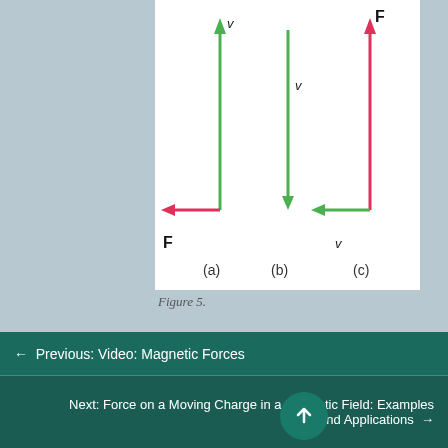[Figure (engineering-diagram): Three sub-diagrams (a), (b), (c) showing magnetic force vectors. (a) has upward velocity vector v (green) and leftward force F (red). (b) has downward velocity vector v (green). (c) has leftward velocity vector v (green) and upward force F (red).]
Figure 5.
6. Repeat Exercise 5 for a negative charge.
7. What is the maximum force on an aluminum rod with a 0.100-μC charge
← Previous: Video: Magnetic Forces
Next: Force on a Moving Charge in a Magnetic Field: Examples and Applications →